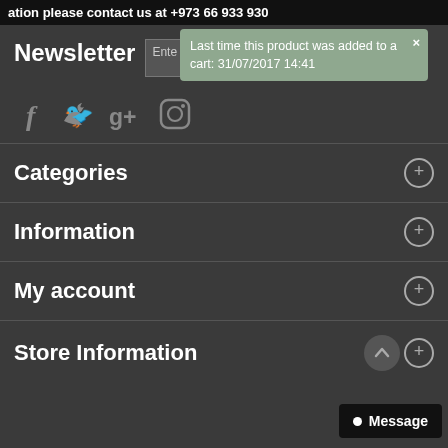ation please contact us at +973 66 933 930
Newsletter
Last time this product was added to a cart: 31/07/2017 14:41
[Figure (other): Social media icons: Facebook, Twitter, Google+, Instagram]
Categories
Information
My account
Store Information
Message